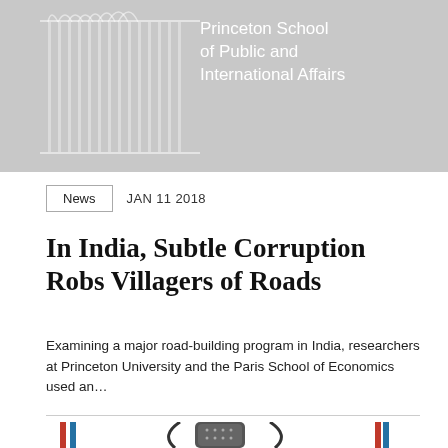[Figure (logo): Princeton School of Public and International Affairs banner with architectural arch illustration in gray and white text]
News   JAN 11 2018
In India, Subtle Corruption Robs Villagers of Roads
Examining a major road-building program in India, researchers at Princeton University and the Paris School of Economics used an...
[Figure (photo): Partial bottom image showing microphone with red and blue flag decorations, partially visible]